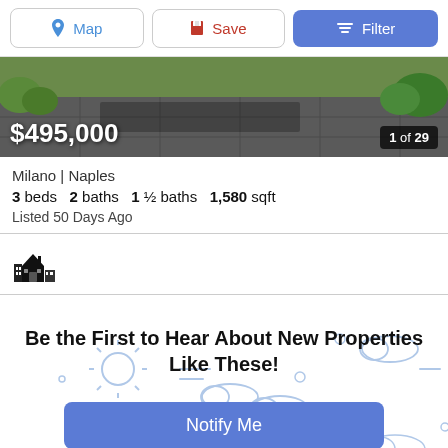Map  Save  Filter
[Figure (photo): Property exterior photo showing paved driveway/patio with green lawn and vegetation. Price overlay $495,000, counter 1 of 29.]
Milano | Naples
3 beds  2 baths  1 ½ baths  1,580 sqft
Listed 50 Days Ago
[Figure (illustration): House/real estate icon (emoji-style home illustration)]
Be the First to Hear About New Properties Like These!
[Figure (illustration): Decorative background illustration with weather icons: sun, clouds, lines on light blue/white background]